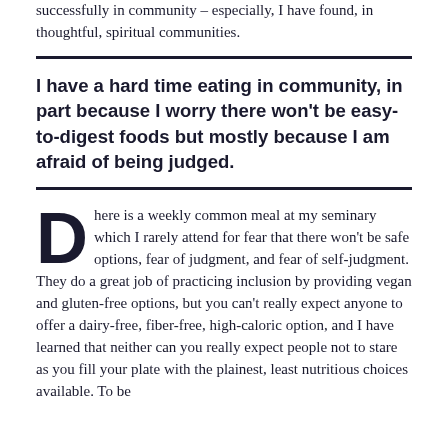successfully in community – especially, I have found, in thoughtful, spiritual communities.
I have a hard time eating in community, in part because I worry there won't be easy-to-digest foods but mostly because I am afraid of being judged.
D here is a weekly common meal at my seminary which I rarely attend for fear that there won't be safe options, fear of judgment, and fear of self-judgment. They do a great job of practicing inclusion by providing vegan and gluten-free options, but you can't really expect anyone to offer a dairy-free, fiber-free, high-caloric option, and I have learned that neither can you really expect people not to stare as you fill your plate with the plainest, least nutritious choices available. To be